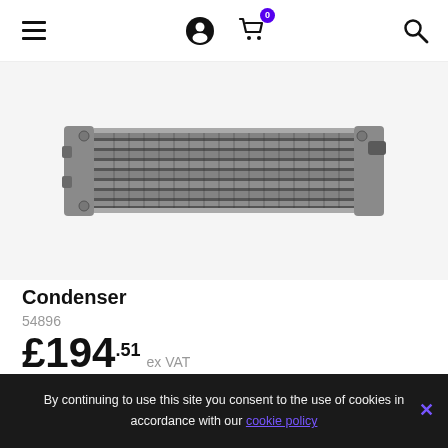[Figure (screenshot): Website navigation bar with hamburger menu, user icon, shopping cart with badge showing 0, and search icon]
[Figure (photo): A condenser/heat exchanger auto part — a rectangular metal unit with fins and pipes on each end, shown against a white background]
Condenser
54896
£194.51 ex VAT
1
ADD TO CART
By continuing to use this site you consent to the use of cookies in accordance with our cookie policy